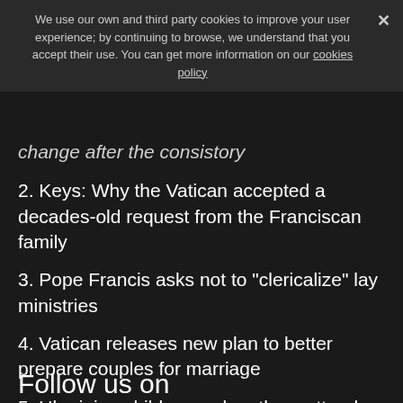We use our own and third party cookies to improve your user experience; by continuing to browse, we understand that you accept their use. You can get more information on our cookies policy
change after the consistory
2. Keys: Why the Vatican accepted a decades-old request from the Franciscan family
3. Pope Francis asks not to "clericalize" lay ministries
4. Vatican releases new plan to better prepare couples for marriage
5. Ukrainian children and mothers attend integrative summer camp in Rome
Follow us on